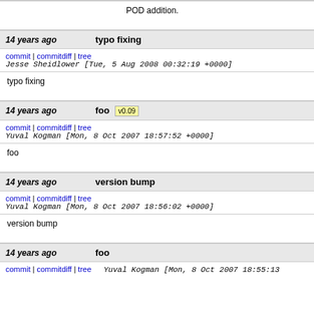POD addition.
14 years ago | typo fixing
commit | commitdiff | tree  Jesse Sheidlower [Tue, 5 Aug 2008 00:32:19 +0000]
typo fixing
14 years ago | foo  v0.09
commit | commitdiff | tree  Yuval Kogman [Mon, 8 Oct 2007 18:57:52 +0000]
foo
14 years ago | version bump
commit | commitdiff | tree  Yuval Kogman [Mon, 8 Oct 2007 18:56:02 +0000]
version bump
14 years ago | foo
commit | commitdiff | tree  Yuval Kogman [Mon, 8 Oct 2007 18:55:13 +0000]